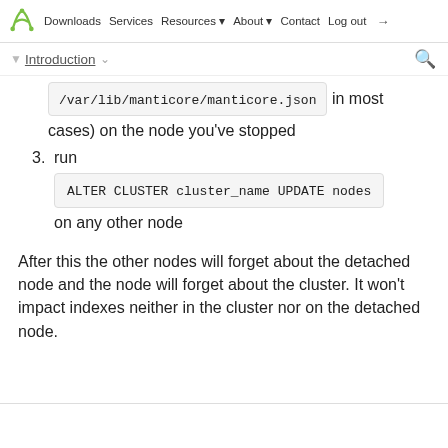Downloads  Services  Resources ▾  About ▾  Contact  Log out
Introduction
/var/lib/manticore/manticore.json in most cases) on the node you've stopped
3. run ALTER CLUSTER cluster_name UPDATE nodes on any other node
After this the other nodes will forget about the detached node and the node will forget about the cluster. It won't impact indexes neither in the cluster nor on the detached node.